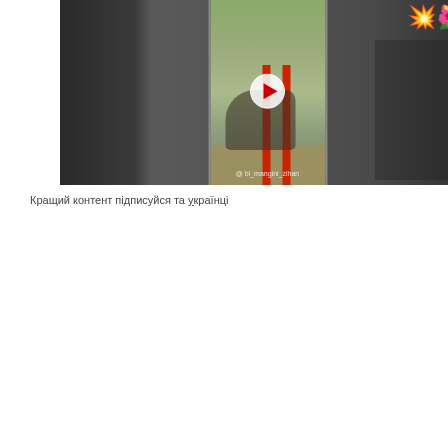[Figure (screenshot): Screenshot of a social media video showing a person doing outdoor calisthenics exercises on red poles, with emoji decorations in the top right corner and an Instagram handle watermark.]
Кращий контент підписуйся та українці
[Figure (screenshot): Thumbnail image for a 'Rhema Prayer' video titled 'Rise & Shine before 2022' with a woman with curly blonde hair wearing a red jacket in the background, on a grey background with white text overlay and a rectangular border design.]